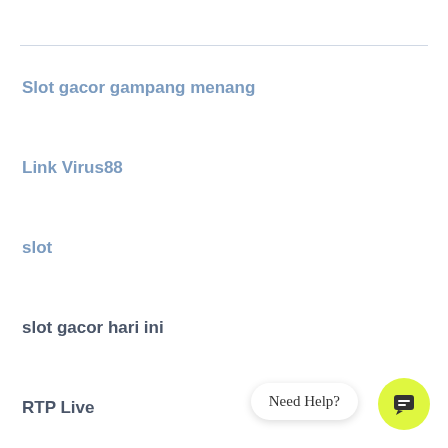Slot gacor gampang menang
Link Virus88
slot
slot gacor hari ini
RTP Live
Need Help?